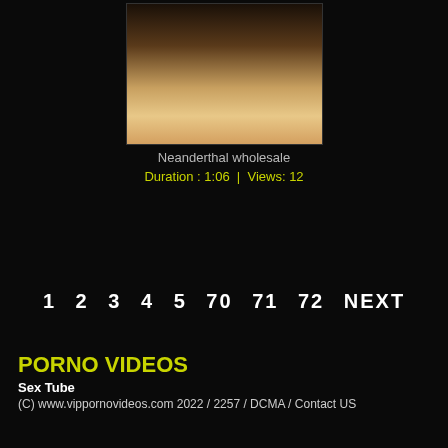[Figure (photo): Thumbnail image of a video, showing a person lying down, partial body view from above, dark and warm tones.]
Neanderthal wholesale
Duration : 1:06 | Views: 12
1  2  3  4  5  70  71  72  NEXT
PORNO VIDEOS
Sex Tube
(C) www.vippornovideos.com 2022 / 2257 / DCMA / Contact US